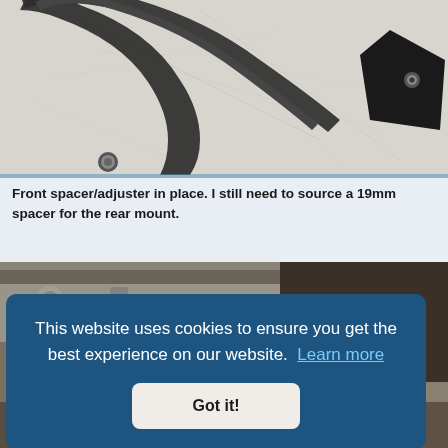[Figure (photo): Close-up photo of a metal front spacer/adjuster bracket mounted on a scratched white surface, showing a curved dark metal piece with a bolt/pin visible]
Front spacer/adjuster in place. I still need to source a 19mm spacer for the rear mount.
[Figure (photo): Close-up photo of mechanical components including bolts, a cross-shaped metal fitting, and other hardware parts]
This website uses cookies to ensure you get the best experience on our website. Learn more
Got it!